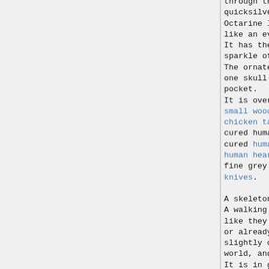through the blue light, like quicksilver.
Octarine light pulses around it like an evil heartbeat.
It has the hazy octarine sparkle of a magical talisman.
The ornate bone backpack has one skull pocket and one main pocket.
It is over half full with: a small wooden shield, three chicken tail feathers, two cured human right hands, three cured human skins, ten cured human hearts, ten handfuls of fine grey ash and five bone knives.

A skeleton warrior.
A walking corpse.  Bits look like they're about to fall off, or already have.  It looks slightly out-of-touch with the world, and very fierce.
It is in good shape.
It is standing.
Holding : a long sword (left hand).
Wearing : a pair of hobnailed boots, a pair of black wool trousers and a white cotton shirt.
(under) : thick black socks